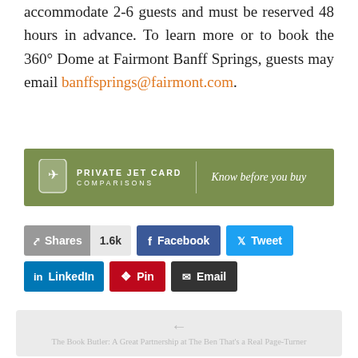accommodate 2-6 guests and must be reserved 48 hours in advance. To learn more or to book the 360° Dome at Fairmont Banff Springs, guests may email banffsprings@fairmont.com.
[Figure (other): Private Jet Card Comparisons advertisement banner — olive green background with plane icon, text 'PRIVATE JET CARD COMPARISONS' and tagline 'Know before you buy']
Shares 1.6k  Facebook  Tweet  LinkedIn  Pin  Email
[Figure (other): Navigation arrow pointing left with text 'The Book Butler: A Great Partnership at The Ben That's a Real Page-Turner']